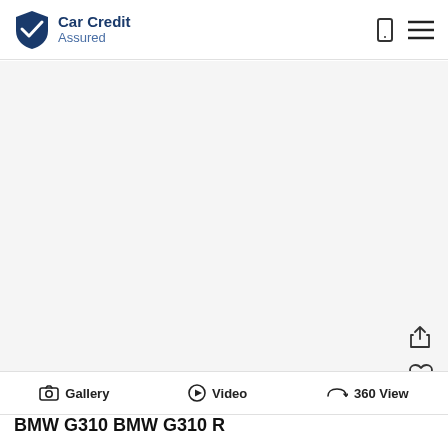[Figure (logo): Car Credit Assured logo with shield icon in navy blue and text]
[Figure (photo): Large white/empty vehicle photo area for BMW G310 BMW G310 R]
Gallery   Video   360 View
BMW G310 BMW G310 R